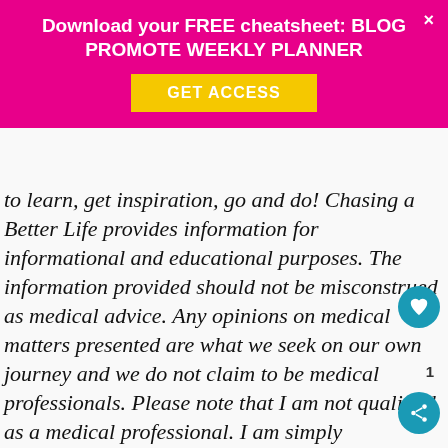Download your FREE cheatsheet: BLOG PROMOTE WEEKLY PLANNER GET ACCESS ×
to learn, get inspiration, go and do! Chasing a Better Life provides information for informational and educational purposes. The information provided should not be misconstrued as medical advice. Any opinions on medical matters presented are what we seek on our own journey and we do not claim to be medical professionals. Please note that I am not qualified as a medical professional. I am simply recounting and sharing my own experiences on this website. Nothing I express here should be taken as medical advice and you should consult with your doctor before starting any diet or exercise program. I provide keto recipes simply as a courtesy to my readers. I do my best to be as accurate as possible but you should independently